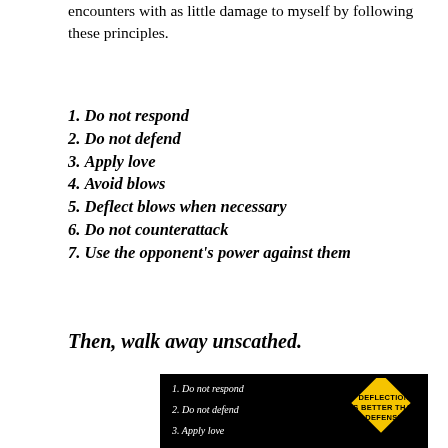encounters with as little damage to myself by following these principles.
1. Do not respond
2. Do not defend
3. Apply love
4. Avoid blows
5. Deflect blows when necessary
6. Do not counterattack
7. Use the opponent’s power against them
Then, walk away unscathed.
[Figure (photo): Black background infographic with white italic text listing: 1. Do not respond, 2. Do not defend, 3. Apply love, and a yellow diamond road sign reading DEFLECTION IS BETTER THAN DEFENSE]